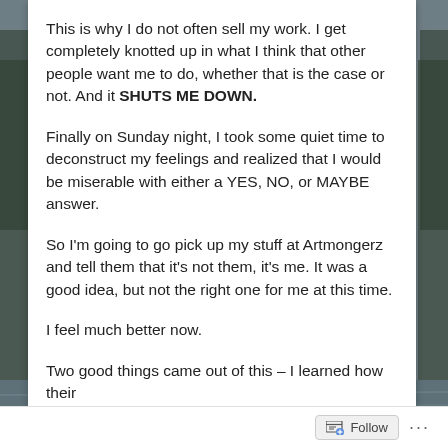This is why I do not often sell my work. I get completely knotted up in what I think that other people want me to do, whether that is the case or not. And it SHUTS ME DOWN.
Finally on Sunday night, I took some quiet time to deconstruct my feelings and realized that I would be miserable with either a YES, NO, or MAYBE answer.
So I'm going to go pick up my stuff at Artmongerz and tell them that it's not them, it's me. It was a good idea, but not the right one for me at this time.
I feel much better now.
Two good things came out of this – I learned how their